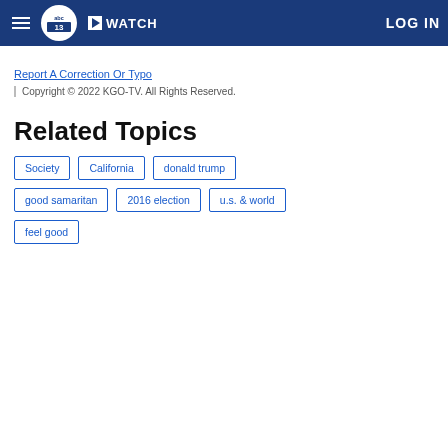ABC13 navigation bar with hamburger menu, ABC13 logo, WATCH button, LOG IN
Report A Correction Or Typo
Copyright © 2022 KGO-TV. All Rights Reserved.
Related Topics
Society
California
donald trump
good samaritan
2016 election
u.s. & world
feel good